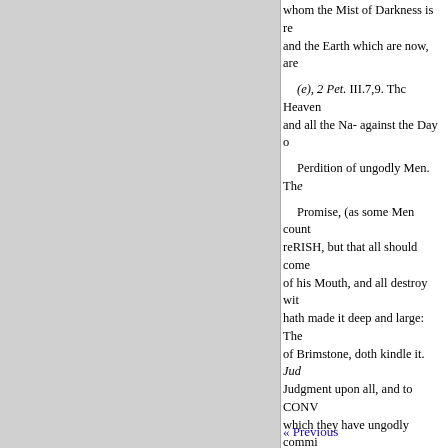whom the Mist of Darkness is re- and the Earth which are now, are
(e), 2 Pet. III.7,9. Thc Heaven and all the Na- against the Day o
Perdition of ungodly Men. The
Promise, (as some Men count reRISH, but that all should come of his Mouth, and all destroy with hath made it deep and large: The of Brimstone, doth kindle it. Jud Judgment upon all, and to CONV which they have ungodly commi against him. Rev.xi!1. 10. He tha Sword, must be killed wsth the S
< Psalm vil, 11, to 14, 16.
Pfalm 1x. 5,16,17,
« Previous